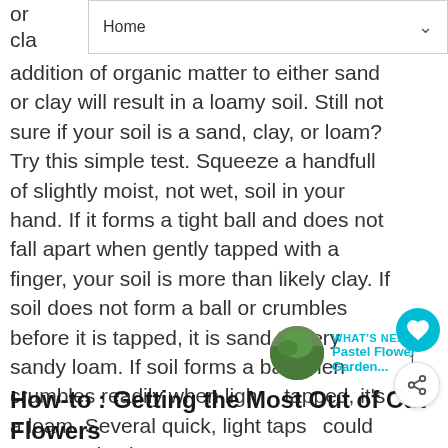Home
addition of organic matter to either sand or clay will result in a loamy soil. Still not sure if your soil is a sand, clay, or loam? Try this simple test. Squeeze a handfull of slightly moist, not wet, soil in your hand. If it forms a tight ball and does not fall apart when gently tapped with a finger, your soil is more than likely clay. If soil does not form a ball or crumbles before it is tapped, it is sand to very sandy loam. If soil forms a ball, then crumbles readily when lightly tapped, it's a loam. Several quick, light taps could mean a clay loam.
How-to : Getting the Most Out of Cut Flowers